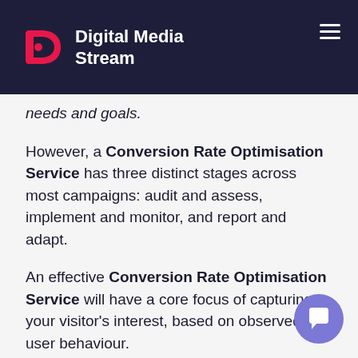[Figure (logo): Digital Media Stream logo: red stylized D with dots and white text 'Digital Media Stream' on dark navy background with hamburger menu icon]
needs and goals.
However, a Conversion Rate Optimisation Service has three distinct stages across most campaigns: audit and assess, implement and monitor, and report and adapt.
An effective Conversion Rate Optimisation Service will have a core focus of capturing your visitor's interest, based on observed user behaviour.
All of our Conversion Rate Optimisation Services are data-led, and executed by camp teams with exceptional skills and experience. here to ensure your conversion goals are met continually and profitably.